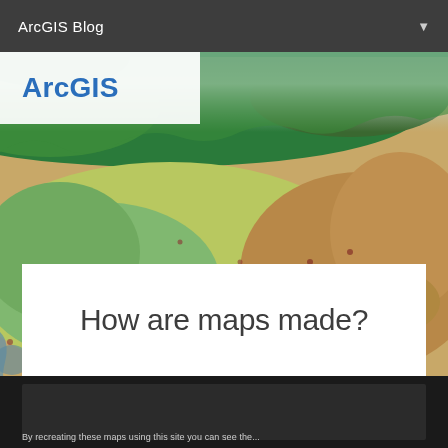ArcGIS Blog
[Figure (map): Satellite/topographic map view showing a region with terrain, vegetation, water bodies, and land classification colors including green, yellow-green, blue, and sandy brown areas. The map shows what appears to be Turkey and surrounding region.]
ArcGIS
How are maps made?
[Figure (screenshot): Dark background content strip at bottom, appears to be a video or embedded content area with text partially visible.]